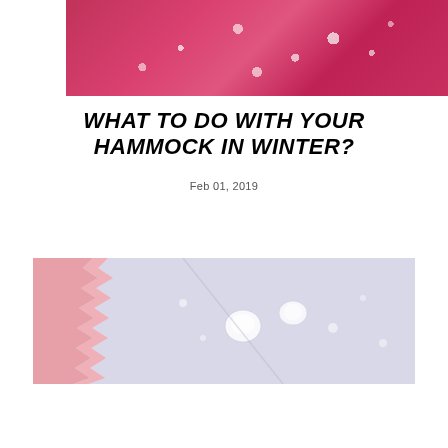[Figure (photo): Close-up photo of red/pink leaf with water droplets on surface]
WHAT TO DO WITH YOUR HAMMOCK IN WINTER?
Feb 01, 2019
[Figure (photo): Close-up photo of fabric texture with water droplets, showing a zigzag-edged colorful piece on left]
[Figure (other): Olive green menu bar with hamburger icon and MENU text]